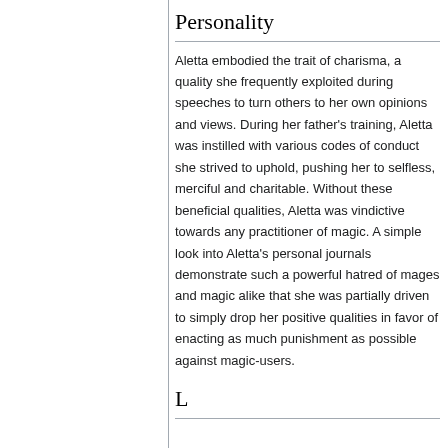Personality
Aletta embodied the trait of charisma, a quality she frequently exploited during speeches to turn others to her own opinions and views. During her father's training, Aletta was instilled with various codes of conduct she strived to uphold, pushing her to selfless, merciful and charitable. Without these beneficial qualities, Aletta was vindictive towards any practitioner of magic. A simple look into Aletta's personal journals demonstrate such a powerful hatred of mages and magic alike that she was partially driven to simply drop her positive qualities in favor of enacting as much punishment as possible against magic-users.
L